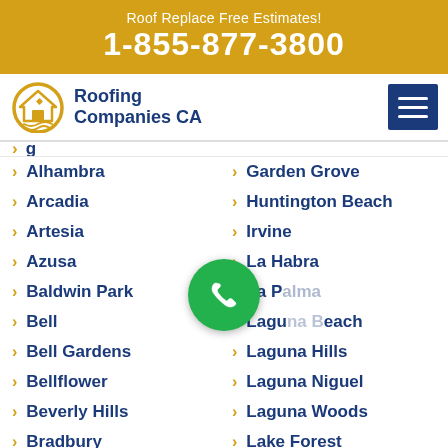Roof Replace Free Estimates! 1-855-877-3800
[Figure (logo): Roofing Companies CA logo with house icon]
Alhambra
Garden Grove
Arcadia
Huntington Beach
Artesia
Irvine
Azusa
La Habra
Baldwin Park
La Palma
Bell
Laguna Beach
Bell Gardens
Laguna Hills
Bellflower
Laguna Niguel
Beverly Hills
Laguna Woods
Bradbury
Lake Forest
Burbank
Los Alamitos
Calabasas
Mission Viejo